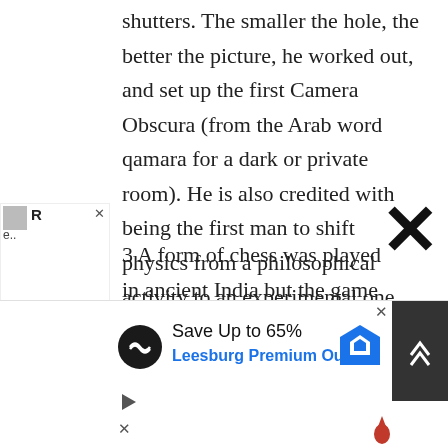shutters. The smaller the hole, the better the picture, he worked out, and set up the first Camera Obscura (from the Arab word qamara for a dark or private room). He is also credited with being the first man to shift physics from a philosophical activity to an experimental one.
3 A form of chess was played in ancient India but the game was developed into the form we know it today in Persia. From there it spread westward to Europe – where it was introduced by the Moors in Spain in
[Figure (other): Advertisement overlay: Save Up to 65% Leesburg Premium Outlets with circular logo and navigation arrow icon]